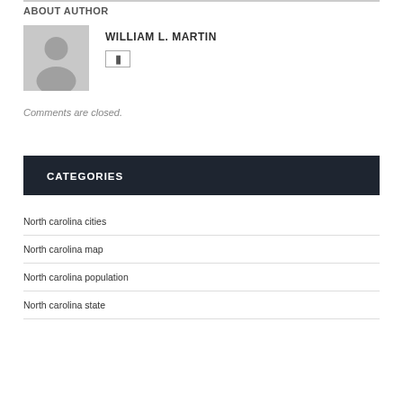ABOUT AUTHOR
[Figure (photo): Gray placeholder avatar silhouette image]
WILLIAM L. MARTIN
Comments are closed.
CATEGORIES
North carolina cities
North carolina map
North carolina population
North carolina state